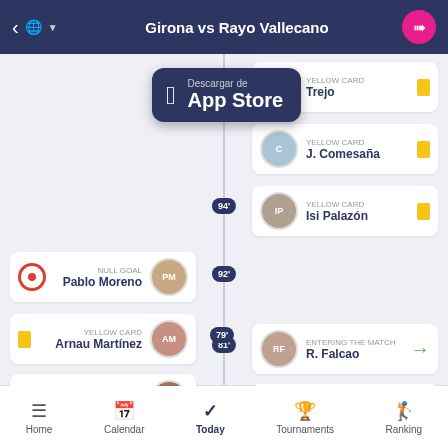Girona vs Rayo Vallecano
[Figure (screenshot): App Store download overlay banner with Apple logo and text 'Descargar de App Store']
97' - YELLOW CARD - Trejo
94' - YELLOW CARD - J. Comesaña
94' - YELLOW CARD - Isi Palazón
92' - NULL GOAL - Pablo Moreno
81' - ENTERING THE MATCH - R. Falcao
81' - LEAVES THE GAME - Sergi Guardiola
79' - YELLOW CARD - Arnau Martínez
77' - LEAVES THE GAME - Ibrahima Kebe
Home | Calendar | Today | Tournaments | Ranking